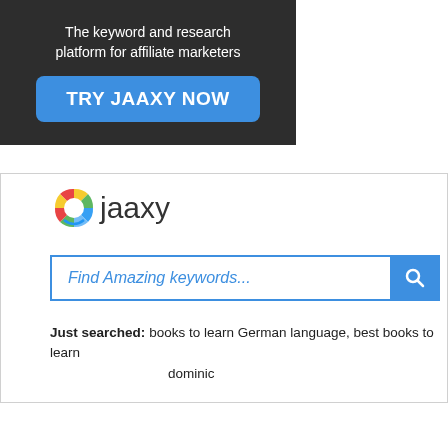[Figure (screenshot): Dark banner advertisement for Jaaxy with tagline 'The keyword and research platform for affiliate marketers' and a blue 'TRY JAAXY NOW' button]
[Figure (screenshot): Jaaxy keyword research widget showing logo, search input with placeholder 'Find Amazing keywords...' and a 'Just searched' row with recent searches including 'books to learn German language, best books to learn... dominic']